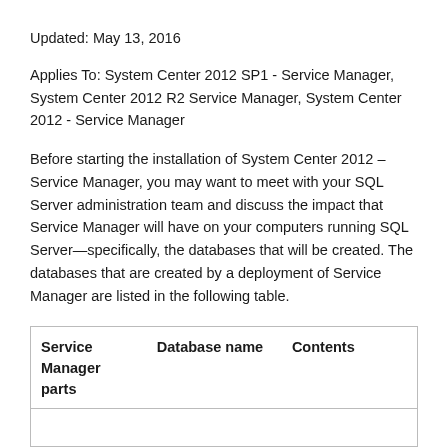Updated: May 13, 2016
Applies To: System Center 2012 SP1 - Service Manager, System Center 2012 R2 Service Manager, System Center 2012 - Service Manager
Before starting the installation of System Center 2012 – Service Manager, you may want to meet with your SQL Server administration team and discuss the impact that Service Manager will have on your computers running SQL Server—specifically, the databases that will be created. The databases that are created by a deployment of Service Manager are listed in the following table.
| Service Manager parts | Database name | Contents |
| --- | --- | --- |
|  |  |  |